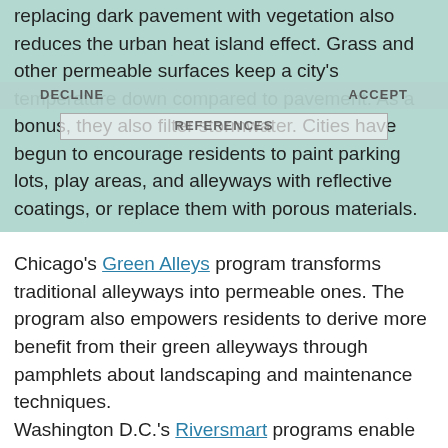replacing dark pavement with vegetation also reduces the urban heat island effect. Grass and other permeable surfaces keep a city's temperature down compared to pavement. As a bonus, they also filter stormwater. Cities have begun to encourage residents to paint parking lots, play areas, and alleyways with reflective coatings, or replace them with porous materials.
Chicago's Green Alleys program transforms traditional alleyways into permeable ones. The program also empowers residents to derive more benefit from their green alleyways through pamphlets about landscaping and maintenance techniques.
Washington D.C.'s Riversmart programs enable individuals and communities to replace dark pavement and build green stormwater infrastructure through a series of grants and rebates.
Philadelphia offers stormwater bill credits to commercial property owners that install green stormwater infrastructure.